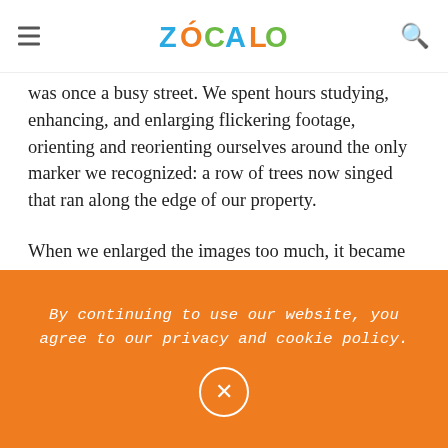ZÓCALO
was once a busy street. We spent hours studying, enhancing, and enlarging flickering footage, orienting and reorienting ourselves around the only marker we recognized: a row of trees now singed that ran along the edge of our property.
When we enlarged the images too much, it became impossible to discern any detail at all. A call from a firefighter friend four days after confirmed that both houses were a total loss. Everything was gone. He sent pictures. I have not viewed them since.
By continuing to use our website, you agree to our privacy and cookie policy.